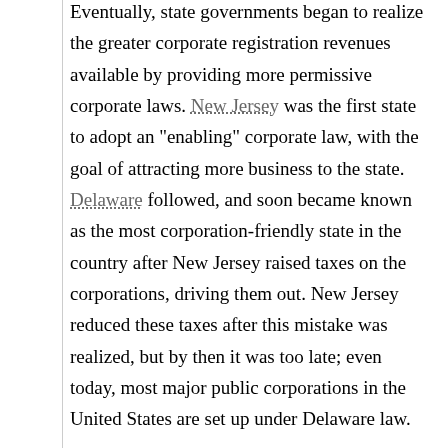Eventually, state governments began to realize the greater corporate registration revenues available by providing more permissive corporate laws. New Jersey was the first state to adopt an "enabling" corporate law, with the goal of attracting more business to the state. Delaware followed, and soon became known as the most corporation-friendly state in the country after New Jersey raised taxes on the corporations, driving them out. New Jersey reduced these taxes after this mistake was realized, but by then it was too late; even today, most major public corporations in the United States are set up under Delaware law.
By the beginning of the 19th century, government policy on both sides of the Atlantic began to change, reflecting the growing popularity of the